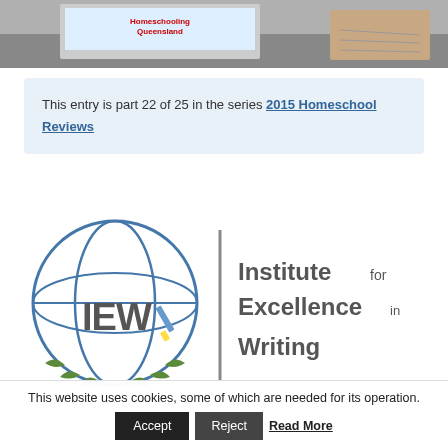[Figure (photo): Partial photo showing a hand writing and a laptop with text 'Homeschooling Queensland' on screen, cropped to show top portion only]
This entry is part 22 of 25 in the series 2015 Homeschool Reviews
[Figure (logo): IEW (Institute for Excellence in Writing) logo: globe graphic with IEW letters and a paint brush, vertical divider line, text reading 'Institute for Excellence in Writing']
This website uses cookies, some of which are needed for its operation.